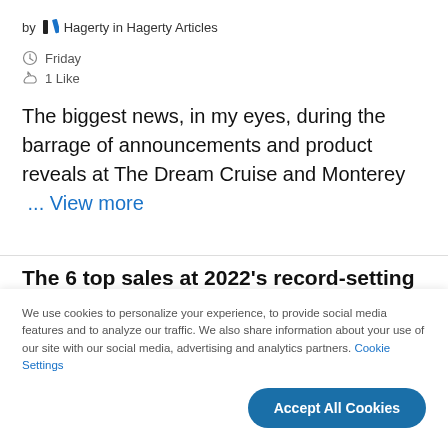by // Hagerty in Hagerty Articles
Friday
1 Like
The biggest news, in my eyes, during the barrage of announcements and product reveals at The Dream Cruise and Monterey  ... View more
The 6 top sales at 2022's record-setting
We use cookies to personalize your experience, to provide social media features and to analyze our traffic. We also share information about your use of our site with our social media, advertising and analytics partners. Cookie Settings
Accept All Cookies